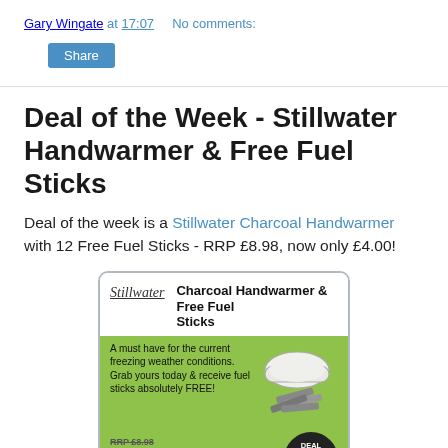Gary Wingate at 17:07    No comments:
Share
Deal of the Week - Stillwater Handwarmer & Free Fuel Sticks
Deal of the week is a Stillwater Charcoal Handwarmer with 12 Free Fuel Sticks - RRP £8.98, now only £4.00!
[Figure (photo): Product advertisement card for Stillwater Charcoal Handwarmer & Free Fuel Sticks. Shows the handwarmer open with fuel sticks, green background, RRP £8.98, NOW ONLY £4.00, Deal of the Week badge.]